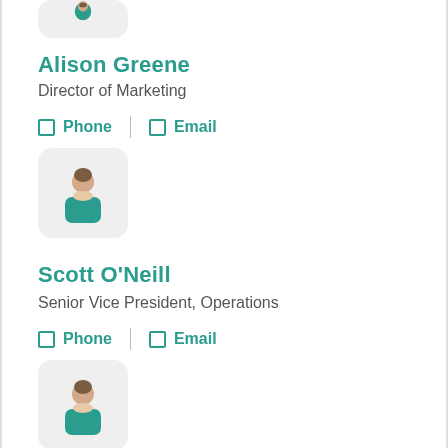[Figure (illustration): Partial avatar icon of a person with teal shirt, cropped at top of page]
Alison Greene
Director of Marketing
Phone   Email
[Figure (illustration): Avatar icon of a person with brown hair and teal shirt on light grey rounded square background]
Scott O'Neill
Senior Vice President, Operations
Phone   Email
[Figure (illustration): Avatar icon of a person with brown hair and teal shirt on light grey rounded square background]